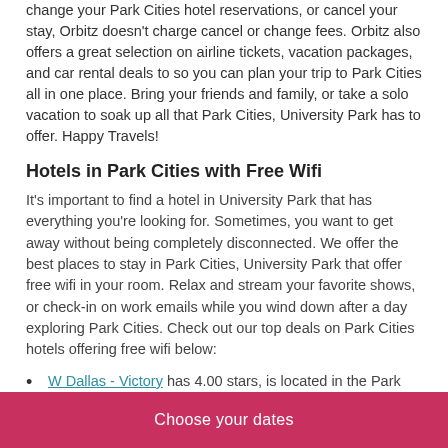change your Park Cities hotel reservations, or cancel your stay, Orbitz doesn't charge cancel or change fees. Orbitz also offers a great selection on airline tickets, vacation packages, and car rental deals to so you can plan your trip to Park Cities all in one place. Bring your friends and family, or take a solo vacation to soak up all that Park Cities, University Park has to offer. Happy Travels!
Hotels in Park Cities with Free Wifi
It's important to find a hotel in University Park that has everything you're looking for. Sometimes, you want to get away without being completely disconnected. We offer the best places to stay in Park Cities, University Park that offer free wifi in your room. Relax and stream your favorite shows, or check-in on work emails while you wind down after a day exploring Park Cities. Check out our top deals on Park Cities hotels offering free wifi below:
W Dallas - Victory has 4.00 stars, is located in the Park Cities area of University Park, and offers free wifi.
Wyndham Dallas Suites- Park Central has 4.00 stars, is located in the Park Cities area of University Park, and offers
Choose your dates